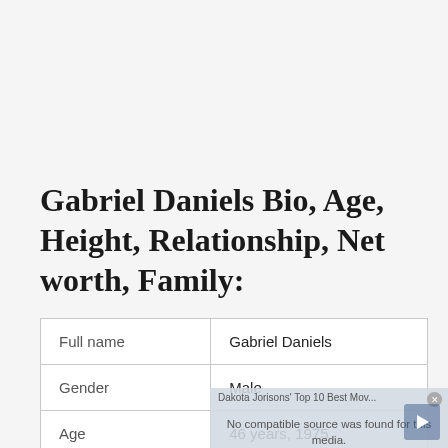Gabriel Daniels Bio, Age, Height, Relationship, Net worth, Family:
| Full name | Gabriel Daniels |
| Gender | Male |
| Age | 46 years, 1975 |